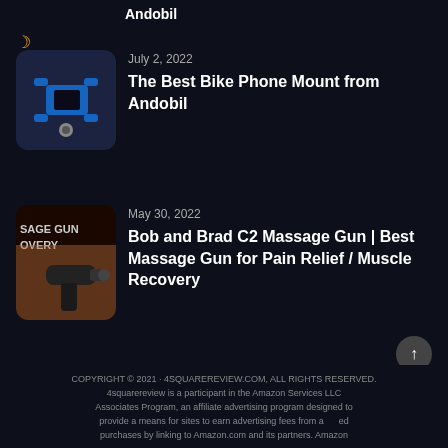Andobil
[Figure (photo): Blue and black bike phone mount product image with rounded corners]
July 2, 2022
The Best Bike Phone Mount from Andobil
[Figure (photo): Massage gun product image with text 'SAGE GUN OVERY' visible on dark background]
May 30, 2022
Bob and Brad C2 Massage Gun | Best Massage Gun for Pain Relief / Muscle Recovery
COPYRIGHT © 2021 · 4SQUAREREVIEW.COM, ALL RIGHTS RESERVED. 4squarereview is a participant in the Amazon Services LLC Associates Program, an affiliate advertising program designed to provide a means for sites to earn advertising fees from affiliated purchases by linking to Amazon.com and its partners. Amazon